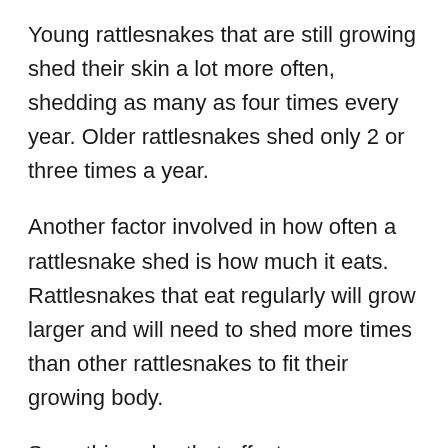Young rattlesnakes that are still growing shed their skin a lot more often, shedding as many as four times every year. Older rattlesnakes shed only 2 or three times a year.
Another factor involved in how often a rattlesnake shed is how much it eats. Rattlesnakes that eat regularly will grow larger and will need to shed more times than other rattlesnakes to fit their growing body.
Something else that affects a rattlesnake's growth and skin shedding is the climate. In